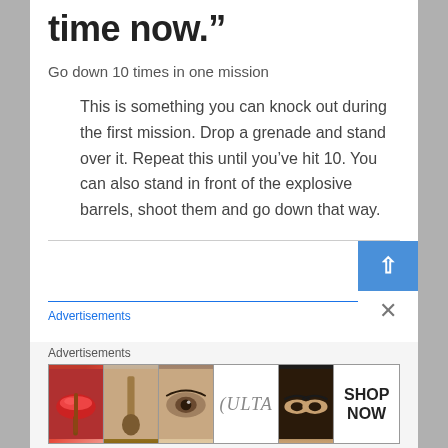time now.”
Go down 10 times in one mission
This is something you can knock out during the first mission. Drop a grenade and stand over it. Repeat this until you’ve hit 10. You can also stand in front of the explosive barrels, shoot them and go down that way.
[Figure (other): Advertisements banner with beauty/makeup images including lips, brush, eye, Ulta logo, eyes, and SHOP NOW button]
Advertisements
Advertisements